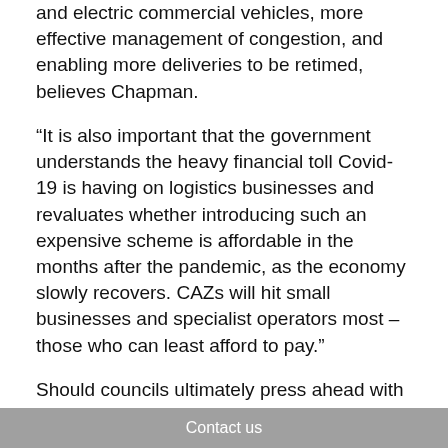and electric commercial vehicles, more effective management of congestion, and enabling more deliveries to be retimed, believes Chapman.
“It is also important that the government understands the heavy financial toll Covid-19 is having on logistics businesses and revaluates whether introducing such an expensive scheme is affordable in the months after the pandemic, as the economy slowly recovers. CAZs will hit small businesses and specialist operators most – those who can least afford to pay.”
Should councils ultimately press ahead with schemes, the government should include an auto-pay function within its central CAZ payment portal, suggests Chapman, stating that plans for a manual, time-intensive system would “place
Contact us